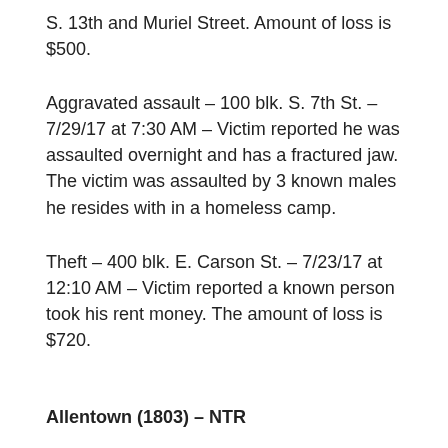S. 13th and Muriel Street. Amount of loss is $500.
Aggravated assault – 100 blk. S. 7th St. – 7/29/17 at 7:30 AM – Victim reported he was assaulted overnight and has a fractured jaw. The victim was assaulted by 3 known males he resides with in a homeless camp.
Theft – 400 blk. E. Carson St. – 7/23/17 at 12:10 AM – Victim reported a known person took his rent money. The amount of loss is $720.
Allentown (1803) – NTR
Mount Oliver (1607) – NTR